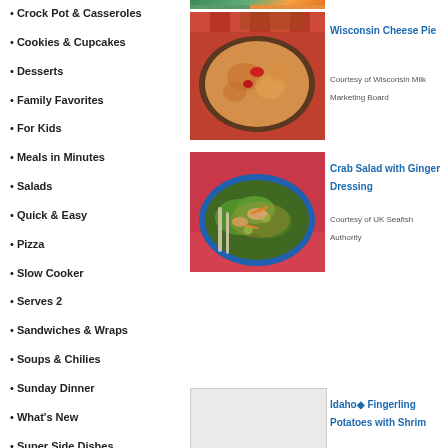Crock Pot & Casseroles
Cookies & Cupcakes
Desserts
Family Favorites
For Kids
Meals in Minutes
Salads
Quick & Easy
Pizza
Slow Cooker
Serves 2
Sandwiches & Wraps
Soups & Chilies
Sunday Dinner
What's New
Super Side Dishes
[Figure (photo): Partial image of a food dish at top right]
[Figure (photo): Wisconsin Cheese Pie - a baked cheese pie in a round pan with red pepper garnish]
Wisconsin Cheese Pie
Courtesy of Wisconsin Milk Marketing Board
[Figure (photo): Crab Salad with Ginger Dressing - a blue plate with crab salad including vegetables and ginger dressing]
Crab Salad with Ginger Dressing
Courtesy of UK Seafish Authority
[Figure (photo): Idaho Fingerling Potatoes with Shrimp - partially visible at bottom]
Idaho◆ Fingerling Potatoes with Shrim